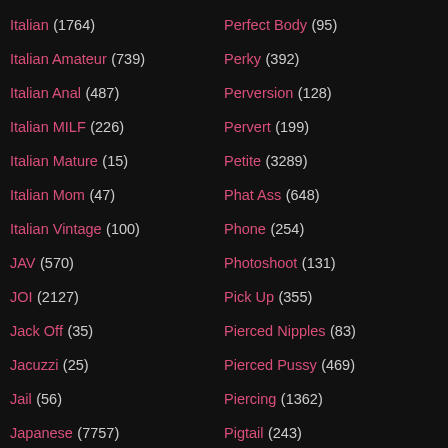Italian (1764)
Italian Amateur (739)
Italian Anal (487)
Italian MILF (226)
Italian Mature (15)
Italian Mom (47)
Italian Vintage (100)
JAV (570)
JOI (2127)
Jack Off (35)
Jacuzzi (25)
Jail (56)
Japanese (7757)
Japanese Anal (538)
Japanese Big Tits (718)
Japanese Femdom (149)
Perfect Body (95)
Perky (392)
Perversion (128)
Pervert (199)
Petite (3289)
Phat Ass (648)
Phone (254)
Photoshoot (131)
Pick Up (355)
Pierced Nipples (83)
Pierced Pussy (469)
Piercing (1362)
Pigtail (243)
Piss Bukkake (19)
Piss Drinking (100)
Pissed On (19)